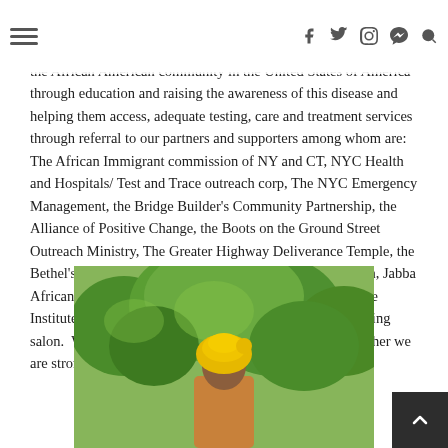≡  f  y   pinterest  instagram  skype  search
the African American community in the United States of America through education and raising the awareness of this disease and helping them access, adequate testing, care and treatment services through referral to our partners and supporters among whom are: The African Immigrant commission of NY and CT, NYC Health and Hospitals/ Test and Trace outreach corp, The NYC Emergency Management, the Bridge Builder's Community Partnership, the Alliance of Positive Change, the Boots on the Ground Street Outreach Ministry, The Greater Highway Deliverance Temple, the Bethel's Emanuel Temple ( BET), St Mark Catholic Church, Jabba African braiding salon, the Ryan and Nina health center, the Institute of family health, African Paradise and Aisha braiding salon.  We are grateful for their unflinching support.  Together we are stronger!
[Figure (photo): Photo of a person outdoors with green trees in the background, wearing a yellow head wrap/turban]